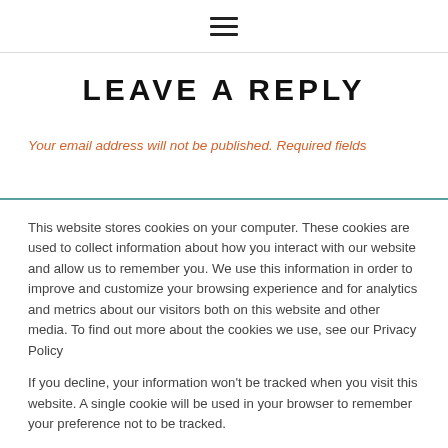≡
LEAVE A REPLY
Your email address will not be published. Required fields
This website stores cookies on your computer. These cookies are used to collect information about how you interact with our website and allow us to remember you. We use this information in order to improve and customize your browsing experience and for analytics and metrics about our visitors both on this website and other media. To find out more about the cookies we use, see our Privacy Policy
If you decline, your information won't be tracked when you visit this website. A single cookie will be used in your browser to remember your preference not to be tracked.